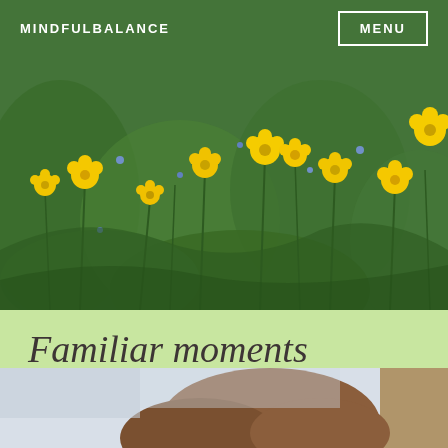[Figure (photo): A meadow of yellow wildflowers (buttercups) and green foliage with some small blue flowers, serving as the hero header image for the blog post.]
MINDFULBALANCE
MENU
Familiar moments
MAY 31, 2018
KARL DUFFY
[Figure (photo): Partial view of a person (woman with reddish-brown hair) photographed outdoors, cropped at the bottom of the page.]